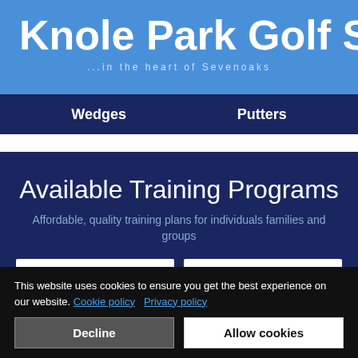Knole Park Golf Sho
...in the heart of Sevenoaks
Wedges    Putters
Available Training Programs
Affordable, quality training plans for individuals families and groups
This website uses cookies to ensure you get the best experience on our website. Cookie policy   Privacy policy
Decline
Allow cookies